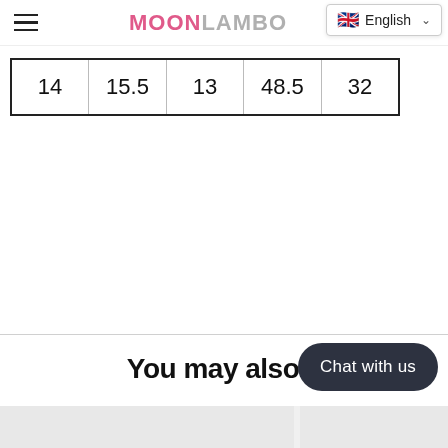MOONLAMBO — English language selector, hamburger menu, search icon, cart icon
| 14 | 15.5 | 13 | 48.5 | 32 |
You may also li… (Chat with us)